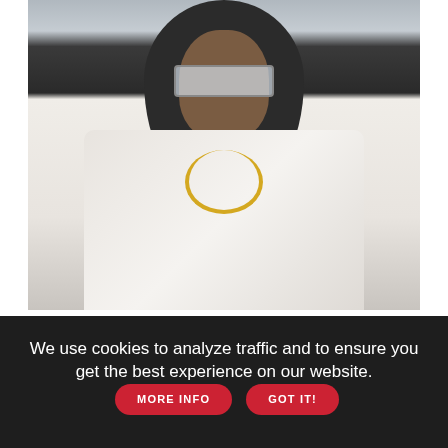[Figure (photo): A male model on a runway wearing a white open jacket over a black hoodie, with large mirrored sunglasses and gold chain necklaces. Fashion show setting.]
A model wears a creation as part of the Givenchy men's Spring Summer 2023 collection presented in Paris, France, Wednesday, June 22, 2022 (Source:AP Photo/Francois Mori)
For the first major collection of Paris Fashion Week's menswear season, Givenchy's models walked on water.
We use cookies to analyze traffic and to ensure you get the best experience on our website. MORE INFO GOT IT!